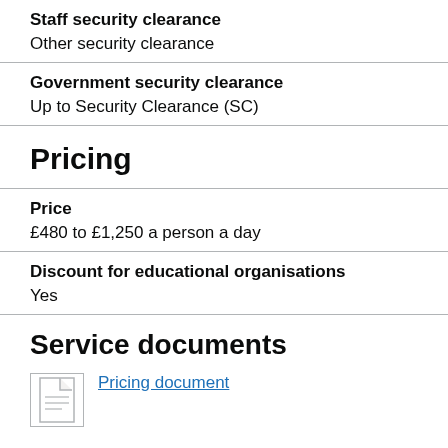Staff security clearance
Other security clearance
Government security clearance
Up to Security Clearance (SC)
Pricing
Price
£480 to £1,250 a person a day
Discount for educational organisations
Yes
Service documents
Pricing document